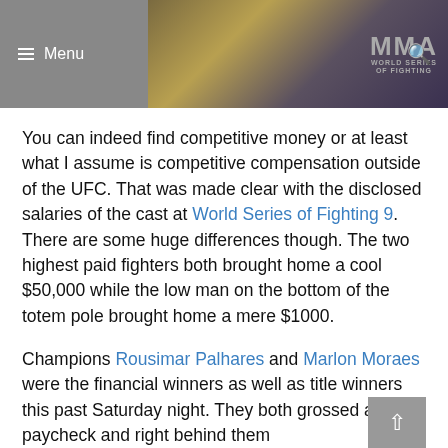Menu | MMA WORLD SERIES OF FIGHTING
You can indeed find competitive money or at least what I assume is competitive compensation outside of the UFC. That was made clear with the disclosed salaries of the cast at World Series of Fighting 9. There are some huge differences though. The two highest paid fighters both brought home a cool $50,000 while the low man on the bottom of the totem pole brought home a mere $1000.
Champions Rousimar Palhares and Marlon Moraes were the financial winners as well as title winners this past Saturday night. They both grossed a good paycheck and right behind them